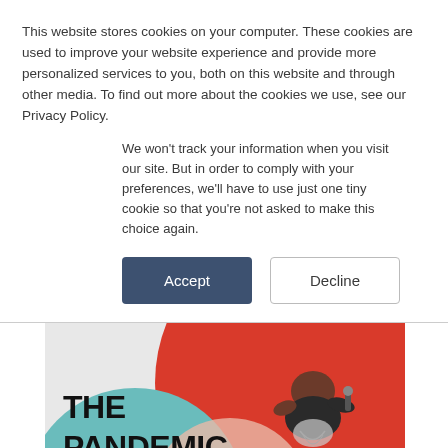This website stores cookies on your computer. These cookies are used to improve your website experience and provide more personalized services to you, both on this website and through other media. To find out more about the cookies we use, see our Privacy Policy.
We won't track your information when you visit our site. But in order to comply with your preferences, we'll have to use just one tiny cookie so that you're not asked to make this choice again.
Accept | Decline
[Figure (illustration): Book cover or promotional image titled 'THE PANDEMIC INFORMATION GAP' with bold black text on a colorful background featuring red, teal/light blue, and peach/pink circular shapes. An illustration of a person (seen from above) holding or looking into something is visible in the upper right portion.]